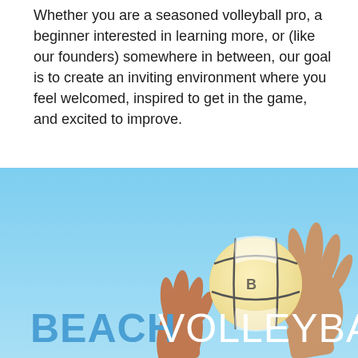Whether you are a seasoned volleyball pro, a beginner interested in learning more, or (like our founders) somewhere in between, our goal is to create an inviting environment where you feel welcomed, inspired to get in the game, and excited to improve.
[Figure (photo): Photo of hands reaching up toward a yellow and white volleyball against a blue sky, with the text 'BEACH VOLLEYBALL' overlaid in bold blue and white letters at the bottom.]